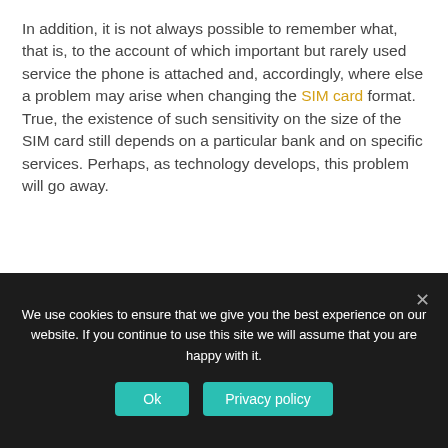In addition, it is not always possible to remember what, that is, to the account of which important but rarely used service the phone is attached and, accordingly, where else a problem may arise when changing the SIM card format. True, the existence of such sensitivity on the size of the SIM card still depends on a particular bank and on specific services. Perhaps, as technology develops, this problem will go away.
How to set up two SIM cards on an Android phone
We use cookies to ensure that we give you the best experience on our website. If you continue to use this site we will assume that you are happy with it.